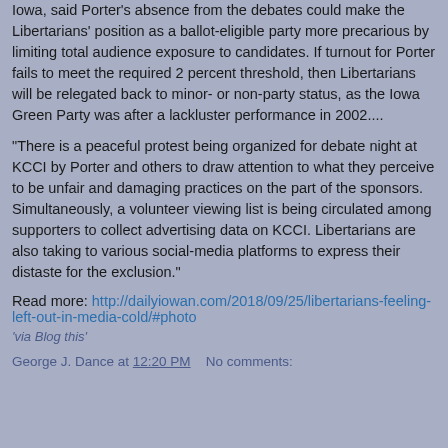Iowa, said Porter's absence from the debates could make the Libertarians' position as a ballot-eligible party more precarious by limiting total audience exposure to candidates. If turnout for Porter fails to meet the required 2 percent threshold, then Libertarians will be relegated back to minor- or non-party status, as the Iowa Green Party was after a lackluster performance in 2002....
"There is a peaceful protest being organized for debate night at KCCI by Porter and others to draw attention to what they perceive to be unfair and damaging practices on the part of the sponsors. Simultaneously, a volunteer viewing list is being circulated among supporters to collect advertising data on KCCI. Libertarians are also taking to various social-media platforms to express their distaste for the exclusion."
Read more: http://dailyiowan.com/2018/09/25/libertarians-feeling-left-out-in-media-cold/#photo
'via Blog this'
George J. Dance at 12:20 PM    No comments: